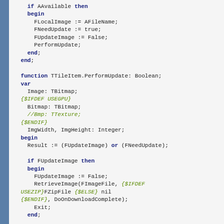[Figure (screenshot): Pascal/Delphi source code snippet showing a TTileItem.PerformUpdate function with conditional compiler directives for USEGPU and USEZIP, displayed in a code editor with syntax highlighting (keywords in dark blue bold, compiler directives in olive green italic, regular code in dark text on light gray background, with a blue sidebar on the left).]